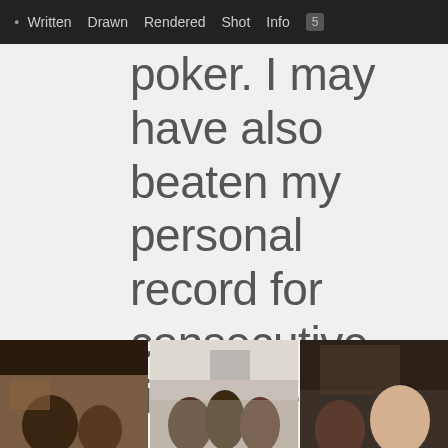· Written  Drawn  Rendered  Shot  Info
poker. I may have also beaten my personal record for consecutive time spent in a 104° hot tub, which I generally measure in hours.
[Figure (photo): Three photographs side by side showing groups of people in indoor settings, partially cropped at the bottom of the page.]